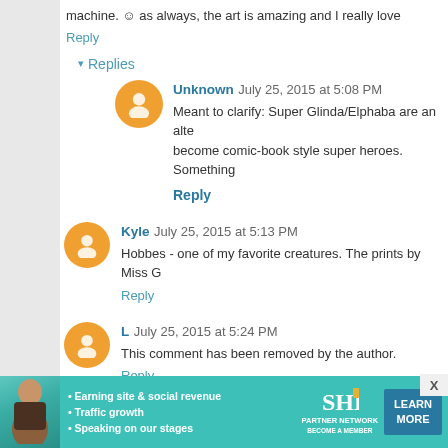machine. 😊 as always, the art is amazing and I really love
Reply
▾ Replies
Unknown  July 25, 2015 at 5:08 PM
Meant to clarify: Super Glinda/Elphaba are an alte
become comic-book style super heroes. Something
Reply
Kyle  July 25, 2015 at 5:13 PM
Hobbes - one of my favorite creatures. The prints by Miss G
Reply
L  July 25, 2015 at 5:24 PM
This comment has been removed by the author.
Reply
[Figure (infographic): SHE Partner Network advertisement banner with teal background, woman photo, bullet points about earning site & social revenue, traffic growth, speaking on our stages, SHE logo, and Learn More button]